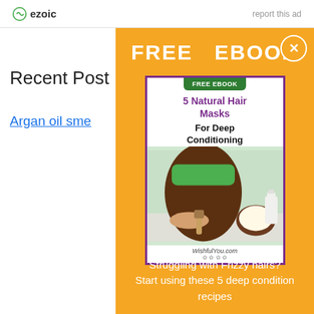ezoic   report this ad
Recent Post
Argan oil sme…
[Figure (illustration): Orange popup ad panel showing FREE EBOOK offer. Contains a book cover for '5 Natural Hair Masks For Deep Conditioning' by WishfulYou.com, with an orange background. A close (X) button is in the top-right corner. At the bottom: 'Struggling with Frizzy hairs? Start using these 5 deep condition recipes']